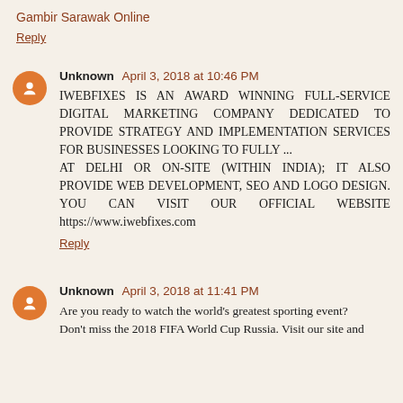Gambir Sarawak Online
Reply
Unknown April 3, 2018 at 10:46 PM
IWEBFIXES IS AN AWARD WINNING FULL-SERVICE DIGITAL MARKETING COMPANY DEDICATED TO PROVIDE STRATEGY AND IMPLEMENTATION SERVICES FOR BUSINESSES LOOKING TO FULLY ... AT DELHI OR ON-SITE (WITHIN INDIA); IT ALSO PROVIDE WEB DEVELOPMENT, SEO AND LOGO DESIGN. YOU CAN VISIT OUR OFFICIAL WEBSITE https://www.iwebfixes.com
Reply
Unknown April 3, 2018 at 11:41 PM
Are you ready to watch the world's greatest sporting event? Don't miss the 2018 FIFA World Cup Russia. Visit our site and ...